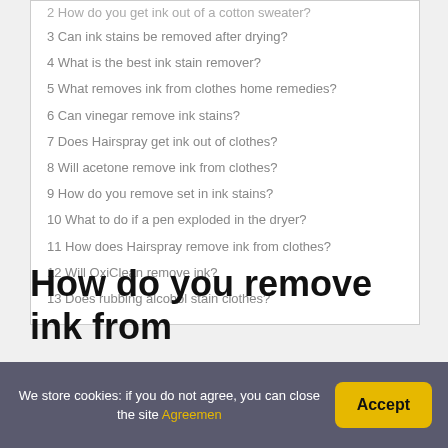2 How do you get ink out of a cotton sweater?
3 Can ink stains be removed after drying?
4 What is the best ink stain remover?
5 What removes ink from clothes home remedies?
6 Can vinegar remove ink stains?
7 Does Hairspray get ink out of clothes?
8 Will acetone remove ink from clothes?
9 How do you remove set in ink stains?
10 What to do if a pen exploded in the dryer?
11 How does Hairspray remove ink from clothes?
12 Will OxiClean remove ink?
13 Does rubbing alcohol stain clothes?
How do you remove ink from
We store cookies: if you do not agree, you can close the site Agreemen